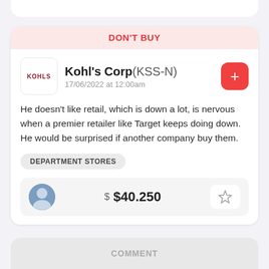DON'T BUY
Kohl's Corp (KSS-N)
17/06/2022 at 12:00am
He doesn't like retail, which is down a lot, is nervous when a premier retailer like Target keeps doing down. He would be surprised if another company buy them.
DEPARTMENT STORES
$ $40.250
COMMENT